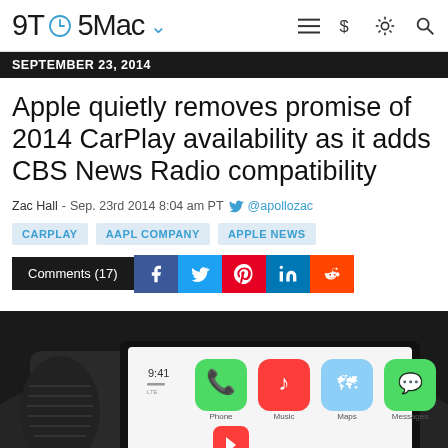9TO5Mac
SEPTEMBER 23, 2014
Apple quietly removes promise of 2014 CarPlay availability as it adds CBS News Radio compatibility
Zac Hall - Sep. 23rd 2014 8:04 am PT @apollozac
CARPLAY
AAPL COMPANY
APPLE NEWS
Comments (17)
[Figure (photo): CarPlay interface shown on a car dashboard screen in a dark interior, displaying Phone, Music, Maps, Messages icons and Now Playing screen]